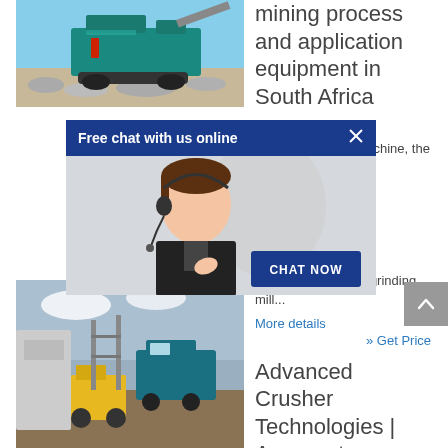[Figure (photo): Mining crusher machine on a job site with blue sky background]
mining process and application equipment in South Africa
...
Gold ore crusher machine, the ... s ... ing ... it is ... : ... gold ore crusher, grinding mill...
[Figure (screenshot): Free chat with us online popup overlay with customer service representative and CHAT NOW button]
More details
» Get Price
[Figure (photo): Industrial crusher equipment and vehicles at a mining site]
Advanced Crusher Technologies | Aggregate,